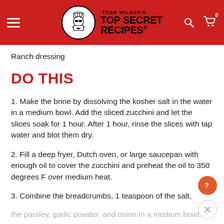Todd Wilbur's Top Secret Recipes
Ranch dressing
DO THIS
1. Make the brine by dissolving the kosher salt in the water in a medium bowl. Add the sliced zucchini and let the slices soak for 1 hour. After 1 hour, rinse the slices with tap water and blot them dry.
2. Fill a deep fryer, Dutch oven, or large saucepan with enough oil to cover the zucchini and preheat the oil to 350 degrees F over medium heat.
3. Combine the breadcrumbs, 1 teaspoon of the salt, the parsley, garlic powder, and onion in a medium bowl.